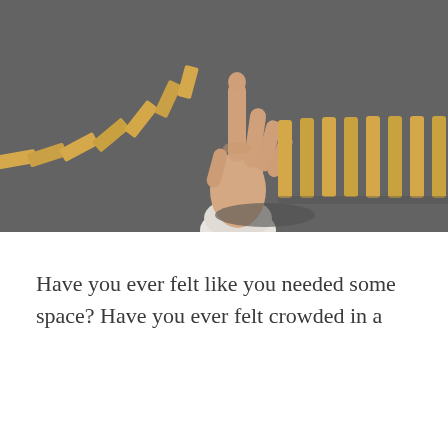[Figure (photo): A hand stopping a row of falling wooden dominoes from a top-down perspective. Dominoes on the left side are falling/fallen at angles, while dominoes on the right remain standing upright. The background is dark gray.]
Have you ever felt like you needed some space? Have you ever felt crowded in a